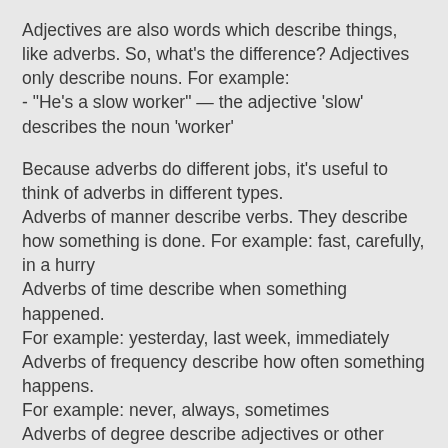Adjectives are also words which describe things, like adverbs. So, what's the difference? Adjectives only describe nouns. For example:
- "He's a slow worker" — the adjective 'slow' describes the noun 'worker'
Because adverbs do different jobs, it's useful to think of adverbs in different types.
Adverbs of manner describe verbs. They describe how something is done. For example: fast, carefully, in a hurry
Adverbs of time describe when something happened.
For example: yesterday, last week, immediately
Adverbs of frequency describe how often something happens.
For example: never, always, sometimes
Adverbs of degree describe adjectives or other adverbs.
For example: very, incredibly, quite
Sentence adverbs describe the situation—not just one word: luckily, apparently, obviously
# click this line for more grammar videos on adjectives and adverbs